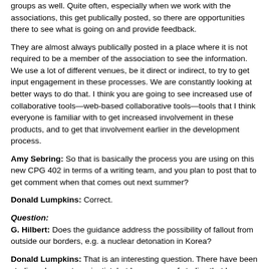groups as well. Quite often, especially when we work with the associations, this get publically posted, so there are opportunities there to see what is going on and provide feedback.
They are almost always publically posted in a place where it is not required to be a member of the association to see the information. We use a lot of different venues, be it direct or indirect, to try to get input engagement in these processes. We are constantly looking at better ways to do that. I think you are going to see increased use of collaborative tools—web-based collaborative tools—tools that I think everyone is familiar with to get increased involvement in these products, and to get that involvement earlier in the development process.
Amy Sebring: So that is basically the process you are using on this new CPG 402 in terms of a writing team, and you plan to post that to get comment when that comes out next summer?
Donald Lumpkins: Correct.
Question:
G. Hilbert: Does the guidance address the possibility of fallout from outside our borders, e.g. a nuclear detonation in Korea?
Donald Lumpkins: That is an interesting question. There have been studies—I am not a scientist, but I am aware of studies that have looked at fallout even from, not an IND event, but a meltdown from a nuclear facility or testing, from our own history of nuclear testing. This guidance does not specifically get into that.
There is a lot of material out there already through EPA and other venues